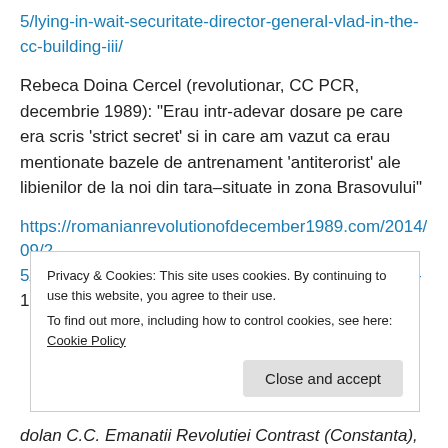5/lying-in-wait-securitate-director-general-vlad-in-the-cc-building-iii/
Rebeca Doina Cercel (revolutionar, CC PCR, decembrie 1989): “Erau intr-adevar dosare pe care era scris ‘strict secret’ si in care am vazut ca erau mentionate bazele de antrenament ‘antiterorist’ ale libienilor de la noi din tara–situate in zona Brasovului”
https://romanianrevolutionofdecember1989.com/2014/09/25/rebeca-doina-cercel-revolutionar-cc-pcr-decembrie-1989…
Privacy & Cookies: This site uses cookies. By continuing to use this website, you agree to their use.
To find out more, including how to control cookies, see here: Cookie Policy
Close and accept
dolan C.C. Emanatii Revolutiei Contrast (Constanta),